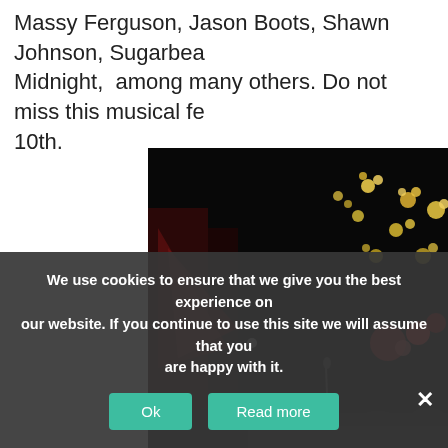Massy Ferguson, Jason Boots, Shawn Johnson, Sugarbea... Midnight,  among many others. Do not miss this musical fe... 10th.
[Figure (photo): Night concert photo with fireworks-like sparkles in the sky, stage lighting, crowd visible at bottom, dark background with red and warm lights]
We use cookies to ensure that we give you the best experience on our website. If you continue to use this site we will assume that you are happy with it.